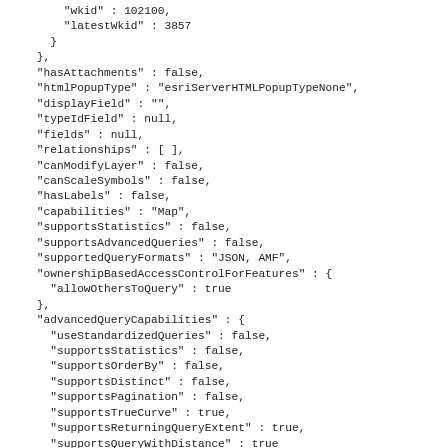"wkid" : 102100,
"latestWkid" : 3857
}
},
"hasAttachments" : false,
"htmlPopupType" : "esriServerHTMLPopupTypeNone",
"displayField" : "",
"typeIdField" : null,
"fields" : null,
"relationships" : [ ],
"canModifyLayer" : false,
"canScaleSymbols" : false,
"hasLabels" : false,
"capabilities" : "Map",
"supportsStatistics" : false,
"supportsAdvancedQueries" : false,
"supportedQueryFormats" : "JSON, AMF",
"ownershipBasedAccessControlForFeatures" : {
"allowOthersToQuery" : true
},
"advancedQueryCapabilities" : {
"useStandardizedQueries" : false,
"supportsStatistics" : false,
"supportsOrderBy" : false,
"supportsDistinct" : false,
"supportsPagination" : false,
"supportsTrueCurve" : true,
"supportsReturningQueryExtent" : true,
"supportsQueryWithDistance" : true
}
}, {
"currentVersion" : 10.81,
"id" : 69,
"name" : "C355",
"type" : "Raster Layer",
"description" : "",
"geometryType" : null,